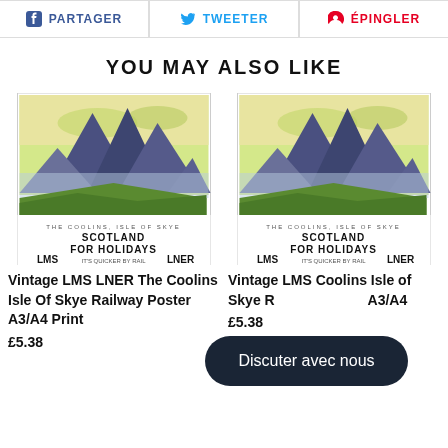PARTAGER | TWEETER | ÉPINGLER
YOU MAY ALSO LIKE
[Figure (illustration): Vintage railway poster showing The Coolins, Isle of Skye mountain landscape with text SCOTLAND FOR HOLIDAYS, LMS LNER]
Vintage LMS LNER The Coolins Isle Of Skye Railway Poster A3/A4 Print
£5.38
[Figure (illustration): Vintage railway poster showing The Coolins, Isle of Skye mountain landscape with text SCOTLAND FOR HOLIDAYS, LMS LNER]
Vintage LMS Coolins Isle of Skye Railway Poster A3/A4
£5.38
Discuter avec nous